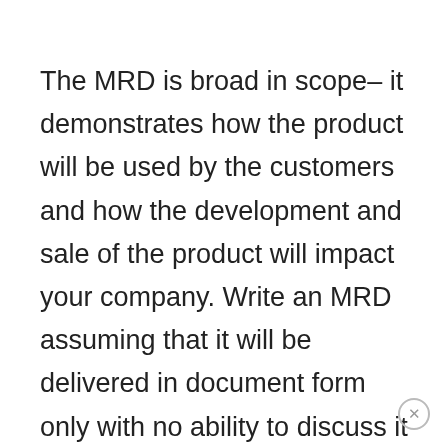The MRD is broad in scope– it demonstrates how the product will be used by the customers and how the development and sale of the product will impact your company. Write an MRD assuming that it will be delivered in document form only with no ability to discuss it with the engineers, production team, or the finance and sales departments. This thought process creates a long, detailed treatment of the subject matter and is very helpful when